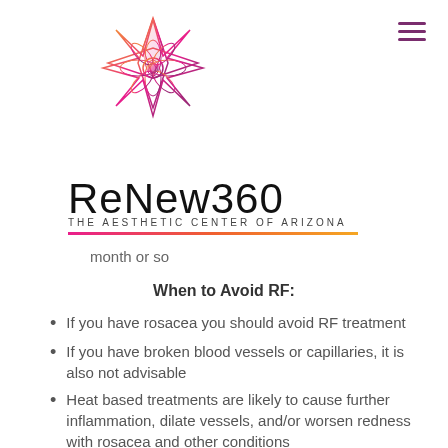[Figure (logo): ReNew360 mandala flower logo in pink-orange-yellow gradient colors]
ReNew360
THE AESTHETIC CENTER OF ARIZONA
month or so
When to Avoid RF:
If you have rosacea you should avoid RF treatment
If you have broken blood vessels or capillaries, it is also not advisable
Heat based treatments are likely to cause further inflammation, dilate vessels, and/or worsen redness with rosacea and other conditions